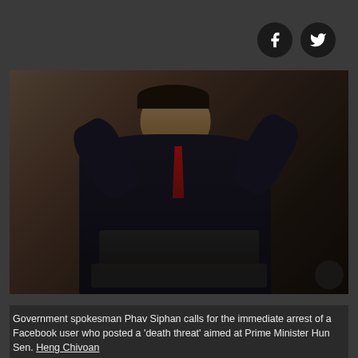[Figure (photo): Government spokesman Phav Siphan speaking at a press conference, gesturing with both hands raised, wearing a dark suit and red tie, with multiple microphones in front of him.]
Government spokesman Phav Siphan calls for the immediate arrest of a Facebook user who posted a 'death threat' aimed at Prime Minister Hun Sen. Heng Chivoan